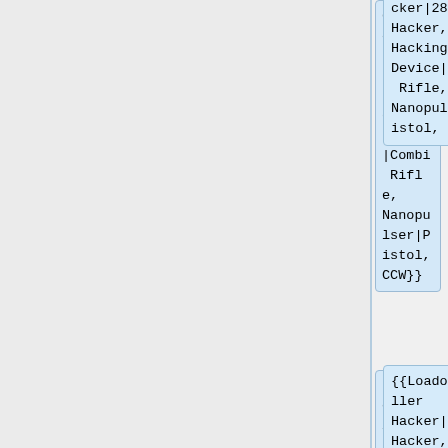cker|28|0.5|Hacker, Hacking Device|Combi Rifle, Nanopulser|Pistol, CCW}}
{{Loadout|Killer Hacker|26|0|Hacker, Killer Hacking Device|Boarding Shotgun|Pistol, CCW}}
{{Loadout|Sensor|24|0|Triangulated Fire